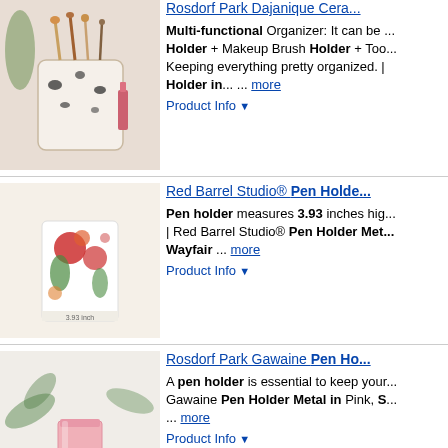[Figure (photo): Ceramic pen holder with leopard print pattern containing makeup brushes and tools]
Rosdorf Park Dajanique Cera...
Multi-functional Organizer: It can be ... Holder + Makeup Brush Holder + Too... Keeping everything pretty organized. | Holder in... ... more
Product Info ▼
[Figure (photo): Red Barrel Studio pen holder with floral botanical pattern]
Red Barrel Studio® Pen Holde...
Pen holder measures 3.93 inches hig... | Red Barrel Studio® Pen Holder Met... Wayfair ... more
Product Info ▼
[Figure (photo): Pink metal pen holder on desk with tropical plant background]
Rosdorf Park Gawaine Pen Ho...
A pen holder is essential to keep your... Gawaine Pen Holder Metal in Pink, S... ... more
Product Info ▼
[Figure (photo): White terrazzo ceramic pen holder with makeup brushes]
Orren Ellis Suzuko Ceramic Pe...
Multi-functional organizer: it can be u... holder, makeup brush holder, toothbr... keeping everything pretty organized. | in ... more
Product Info ▼
[Figure (photo): Inbox Zero Jasahd Desk Organizer product image]
Inbox Zero Jasahd Desk Orga...
Multi-function: The remote control...